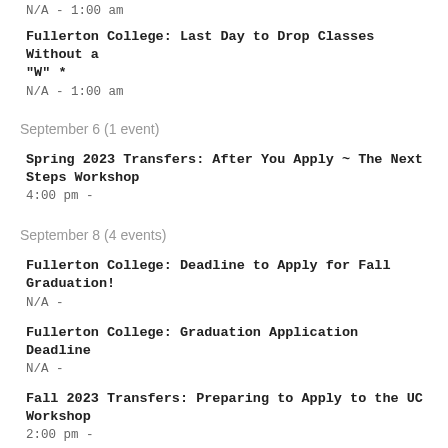N/A - 1:00 am
Fullerton College: Last Day to Drop Classes Without a "W" *
N/A - 1:00 am
September 6 (1 event)
Spring 2023 Transfers: After You Apply ~ The Next Steps Workshop
4:00 pm -
September 8 (4 events)
Fullerton College: Deadline to Apply for Fall Graduation!
N/A -
Fullerton College: Graduation Application Deadline
N/A -
Fall 2023 Transfers: Preparing to Apply to the UC Workshop
2:00 pm -
UC Santa Barbara: Transfer Admission Guarantee (TAG) Webinar